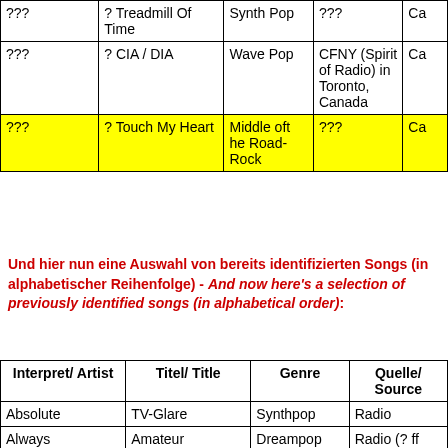|  |  |  |  |  |
| --- | --- | --- | --- | --- |
| ??? | ? Treadmill Of Time | Synth Pop | ??? | Ca |
| ??? | ? CIA / DIA | Wave Pop | CFNY (Spirit of Radio) in Toronto, Canada | Ca |
| ??? | ? Touch My Heart | Middle of the Road-Rock | ??? | Ca |
Und hier nun eine Auswahl von bereits identifizierten Songs (in alphabetischer Reihenfolge) - And now here's a selection of previously identified songs (in alphabetical order):
| Interpret/ Artist | Titel/ Title | Genre | Quelle/ Source |
| --- | --- | --- | --- |
| Absolute | TV-Glare | Synthpop | Radio |
| Always | Amateur Detection | Dreampop | Radio (? ff |